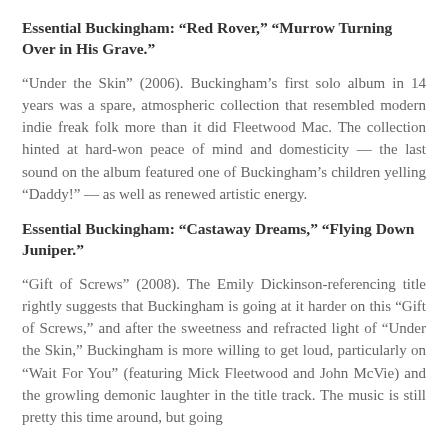Essential Buckingham: “Red Rover,” “Murrow Turning Over in His Grave.”
“Under the Skin” (2006). Buckingham's first solo album in 14 years was a spare, atmospheric collection that resembled modern indie freak folk more than it did Fleetwood Mac. The collection hinted at hard-won peace of mind and domesticity — the last sound on the album featured one of Buckingham's children yelling “Daddy!” — as well as renewed artistic energy.
Essential Buckingham: “Castaway Dreams,” “Flying Down Juniper.”
“Gift of Screws” (2008). The Emily Dickinson-referencing title rightly suggests that Buckingham is going at it harder on this “Gift of Screws,” and after the sweetness and refracted light of “Under the Skin,” Buckingham is more willing to get loud, particularly on “Wait For You” (featuring Mick Fleetwood and John McVie) and the growling demonic laughter in the title track. The music is still pretty this time around, but going